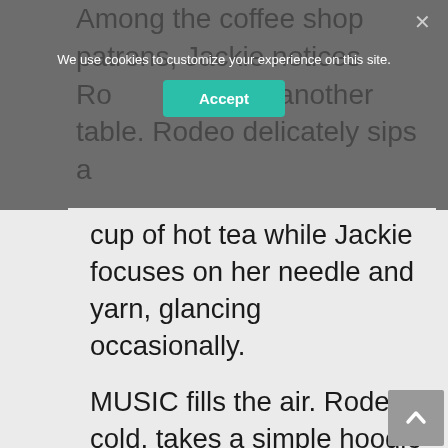Among the coffee shop patrons, Jackie notices Rodeo sitting at another table. Rodeo delicately sips a cup of hot tea while Jackie focuses on her needle and yarn, glancing occasionally.
We use cookies to customize your experience on this site.
Accept
MUSIC fills the air. Rodeo, cold, takes a simple hoodie out of a backpack and wears it. Jackie watches as she sways absentmindedly to the music that envelops her. Inhaling the aroma of her coffee cup, Jackie notices Rodeo take out a book and flip through its pages. Yes. That is indeed the life.